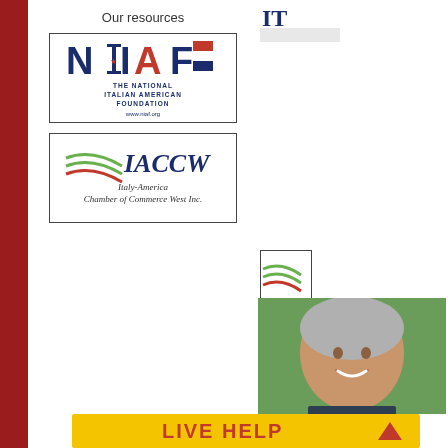Our resources
[Figure (logo): NIAF - The National Italian American Foundation logo with www.niaf.org]
[Figure (logo): IACCW - Italy-America Chamber of Commerce West Inc. logo]
[Figure (logo): Partial NIAF logo visible on right side (cropped)]
[Figure (logo): Partial IACCW logo visible on right side (cropped)]
[Figure (photo): Headshot of a middle-aged man with grey hair, smiling, outdoors with green background]
LIVE HELP